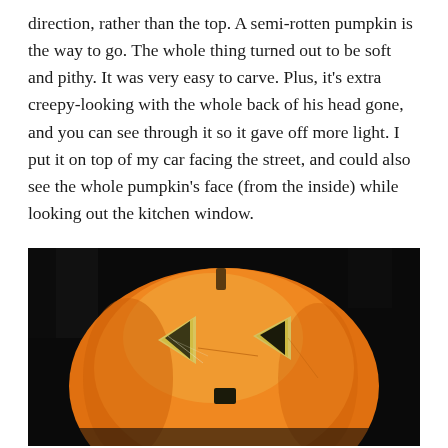direction, rather than the top. A semi-rotten pumpkin is the way to go. The whole thing turned out to be soft and pithy. It was very easy to carve. Plus, it's extra creepy-looking with the whole back of his head gone, and you can see through it so it gave off more light. I put it on top of my car facing the street, and could also see the whole pumpkin's face (from the inside) while looking out the kitchen window.
[Figure (photo): A carved jack-o'-lantern pumpkin with triangular eyes and a small nose cutout, glowing orange from an internal light source, photographed against a dark black background at night.]